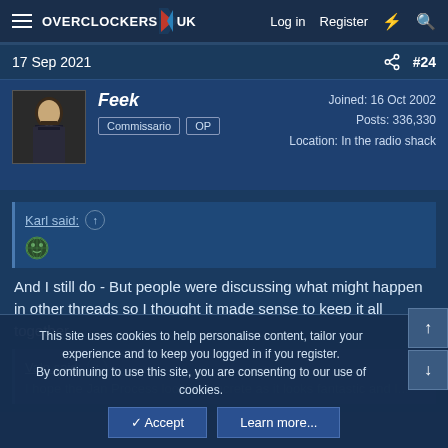Overclockers UK — Log in  Register
17 Sep 2021  #24
Feek
Commissario  OP
Joined: 16 Oct 2002
Posts: 336,330
Location: In the radio shack
Karl said: ↑
[emoji]
And I still do - But people were discussing what might happen in other threads so I thought it made sense to keep it all together.
Valo said: ↑
I hope the JanProcess look is concrete as it looks fantastic and I...
This site uses cookies to help personalise content, tailor your experience and to keep you logged in if you register.
By continuing to use this site, you are consenting to our use of cookies.
✓ Accept    Learn more...